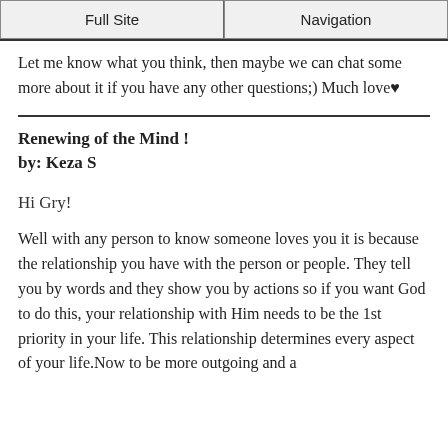Full Site | Navigation
Let me know what you think, then maybe we can chat some more about it if you have any other questions;) Much love♥
Renewing of the Mind !
by: Keza S
Hi Gry!
Well with any person to know someone loves you it is because the relationship you have with the person or people. They tell you by words and they show you by actions so if you want God to do this, your relationship with Him needs to be the 1st priority in your life. This relationship determines every aspect of your life.Now to be more outgoing and a